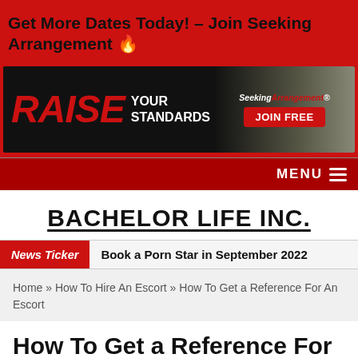Get More Dates Today! – Join Seeking Arrangement 🔥
[Figure (photo): Advertisement banner: RAISE YOUR STANDARDS – SeekingArrangement JOIN FREE, dark background with female model]
MENU ☰
BACHELOR LIFE INC.
News Ticker  Book a Porn Star in September 2022
Home » How To Hire An Escort » How To Get a Reference For An Escort
How To Get a Reference For An